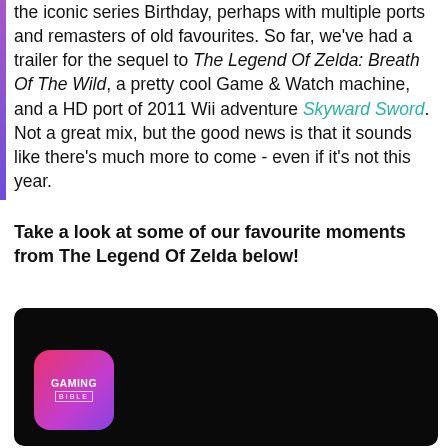the iconic series Birthday, perhaps with multiple ports and remasters of old favourites. So far, we've had a trailer for the sequel to The Legend Of Zelda: Breath Of The Wild, a pretty cool Game & Watch machine, and a HD port of 2011 Wii adventure Skyward Sword. Not a great mix, but the good news is that it sounds like there's much more to come - even if it's not this year.
Take a look at some of our favourite moments from The Legend Of Zelda below!
[Figure (screenshot): Dark video player thumbnail with Gaming Bible logo (pink-to-purple gradient rounded square icon) visible in the bottom-left corner.]